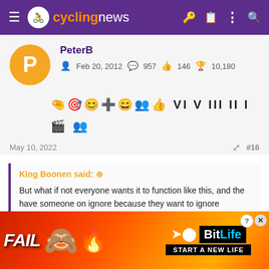cyclingnews
PeterB
Feb 20, 2012  957  146  10,180
[Figure (other): User badge/achievement icons row]
May 10, 2022  #16
King Boonen said: ↗

But what if not everyone wants it to function like this, and the have someone on ignore because they want to ignore everything they post, including threads?
[Figure (other): BitLife advertisement banner - FAIL text with emoji, START A NEW LIFE tagline]